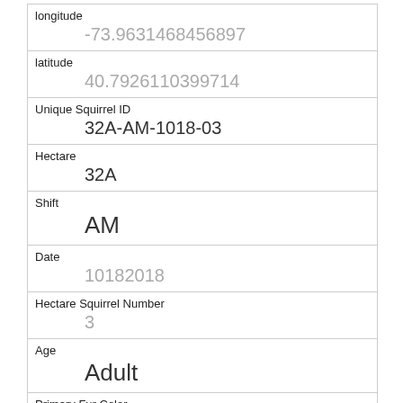| longitude | -73.9631468456897 |
| latitude | 40.7926110399714 |
| Unique Squirrel ID | 32A-AM-1018-03 |
| Hectare | 32A |
| Shift | AM |
| Date | 10182018 |
| Hectare Squirrel Number | 3 |
| Age | Adult |
| Primary Fur Color | Gray |
| Highlight Fur Color |  |